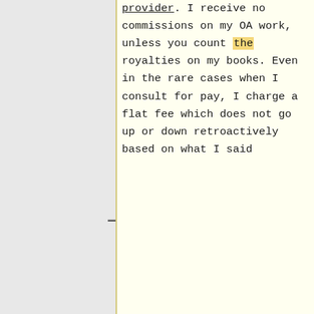provider. I receive no commissions on my OA work, unless you count the royalties on my books. Even in the rare cases when I consult for pay, I charge a flat fee which does not go up or down retroactively based on what I said
salaries, fellowships, or grants from for-profit companies. I receive no commissions on my OA work, unless you count royalties on my books. Even in the rare cases when I consult for pay, I charge a flat fee which does not go up or